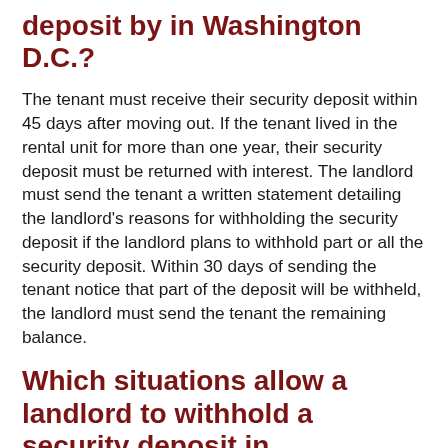deposit by in Washington D.C.?
The tenant must receive their security deposit within 45 days after moving out. If the tenant lived in the rental unit for more than one year, their security deposit must be returned with interest. The landlord must send the tenant a written statement detailing the landlord's reasons for withholding the security deposit if the landlord plans to withhold part or all the security deposit. Within 30 days of sending the tenant notice that part of the deposit will be withheld, the landlord must send the tenant the remaining balance.
Which situations allow a landlord to withhold a security deposit in Washington D.C.?
Landlords cannot withhold deposits for routine maintenance or the repair of damage that was not